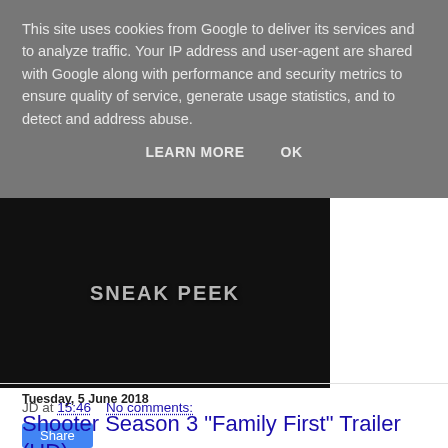This site uses cookies from Google to deliver its services and to analyze traffic. Your IP address and user-agent are shared with Google along with performance and security metrics to ensure quality of service, generate usage statistics, and to detect and address abuse.
LEARN MORE    OK
[Figure (screenshot): Dark video thumbnail showing 'SNEAK PEEK' text overlay on a dimly lit scene]
JD at 15:46    No comments:
Share
Tuesday, 5 June 2018
Shooter Season 3 "Family First" Trailer (HD)